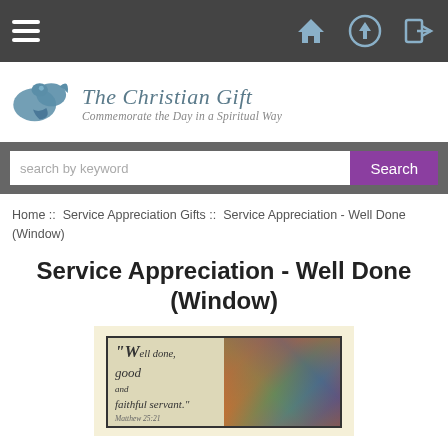[Figure (screenshot): Website navigation bar with hamburger menu on left and home, upload, login icons on right, dark gray background]
[Figure (logo): The Christian Gift logo with teal dove icon and italic text: 'The Christian Gift' and 'Commemorate the Day in a Spiritual Way']
search by keyword
Search
Home ::  Service Appreciation Gifts ::  Service Appreciation - Well Done (Window)
Service Appreciation - Well Done (Window)
[Figure (photo): Product image showing a framed piece with 'Well done, good and faithful servant. Matthew 25:21' text on left and a stained glass window image on right, set on a cream background]